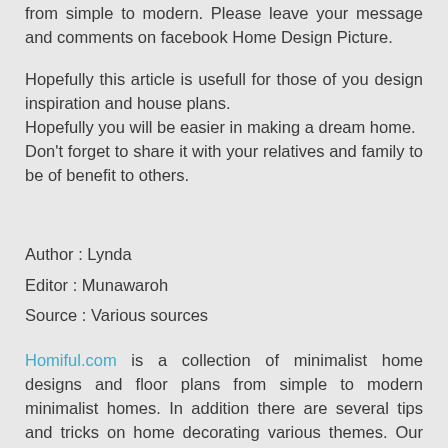from simple to modern. Please leave your message and comments on facebook Home Design Picture.
Hopefully this article is usefull for those of you design inspiration and house plans.
Hopefully you will be easier in making a dream home.
Don't forget to share it with your relatives and family to be of benefit to others.
Author : Lynda
Editor : Munawaroh
Source : Various sources
Homiful.com is a collection of minimalist home designs and floor plans from simple to modern minimalist homes. In addition there are several tips and tricks on home decorating various themes. Our flagship theme is